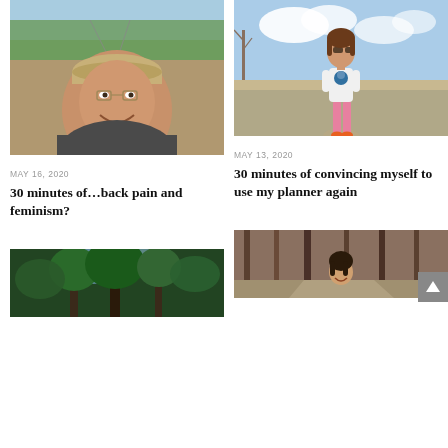[Figure (photo): Selfie of a woman with a cap and backpack outdoors on a trail with trees and cleared land in background]
MAY 16, 2020
30 minutes of…back pain and feminism?
[Figure (photo): Woman in white t-shirt and pink leggings standing on a gravel road with bare trees in background]
MAY 13, 2020
30 minutes of convincing myself to use my planner again
[Figure (photo): Looking up at tall green trees from below]
[Figure (photo): Woman smiling on a forest trail surrounded by trees]